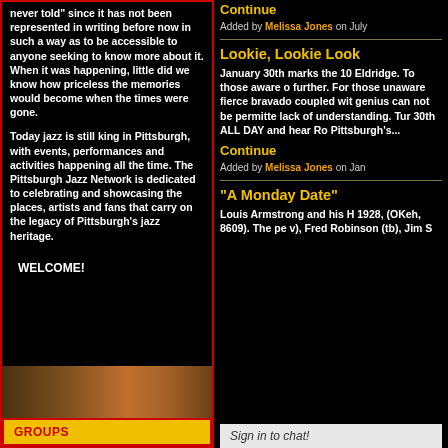never told" since it has not been represented in writing before now in such a way as to be accessible to anyone seeking to know more about it.  When it was happening, little did we know how priceless the memories would become when the times were gone.
Today jazz is still king in Pittsburgh, with events, performances and activities happening all the time. The Pittsburgh Jazz Network is dedicated to celebrating and showcasing the places, artists and fans that carry on the legacy of Pittsburgh's jazz heritage.
WELCOME!
GROUPS
Continue
Added by Melissa Jones on July
Lookie, Lookie Look
January 30th marks the 10 Eldridge. To those aware o further. For those unaware fierce bravado coupled wit genius can not be permitte lack of understanding. Tur 30th ALL DAY and hear Ro Pittsburgh's...
Continue
Added by Melissa Jones on Jan
"A Monday Date"
Louis Armstrong and his H 1928, (OKeh, 8609).  The pe v), Fred Robinson (tb), Jim S
Sign in to chat!